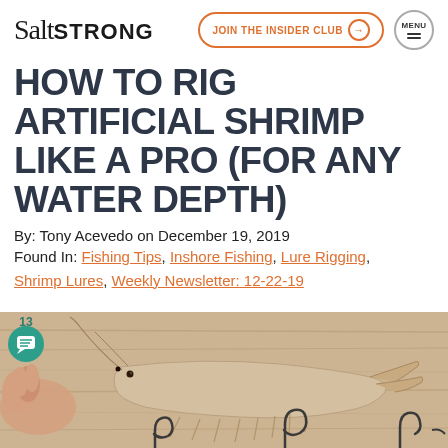Salt Strong | JOIN THE INSIDER CLUB | MENU
HOW TO RIG ARTIFICIAL SHRIMP LIKE A PRO (FOR ANY WATER DEPTH)
By: Tony Acevedo on December 19, 2019
Found In: Fishing Tips, Inshore Fishing, Lure Rigging, Shrimp Lures, Weekly Newsletter: 12-22-19
[Figure (photo): Photo of an artificial shrimp lure on a wooden surface with fishing hooks below, a hand touching the lure on the left side. Number 13 and a chat bubble icon visible in bottom left corner.]